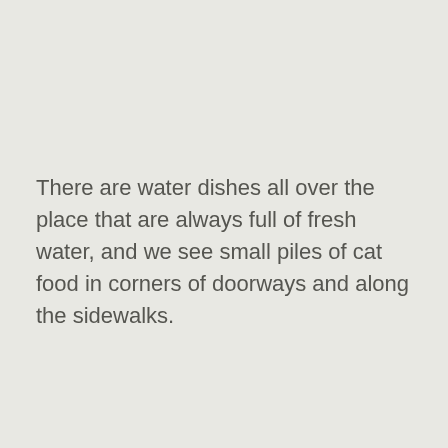There are water dishes all over the place that are always full of fresh water, and we see small piles of cat food in corners of doorways and along the sidewalks.